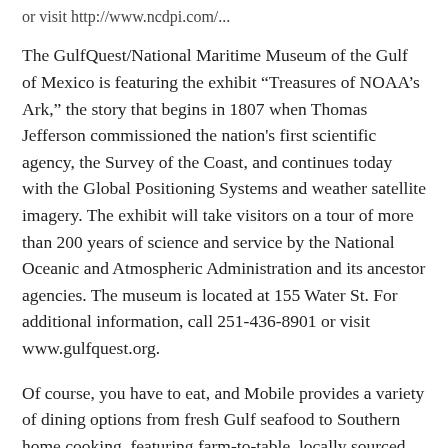or visit http://www.ncdpi.com/...
The GulfQuest/National Maritime Museum of the Gulf of Mexico is featuring the exhibit “Treasures of NOAA’s Ark,” the story that begins in 1807 when Thomas Jefferson commissioned the nation's first scientific agency, the Survey of the Coast, and continues today with the Global Positioning Systems and weather satellite imagery. The exhibit will take visitors on a tour of more than 200 years of science and service by the National Oceanic and Atmospheric Administration and its ancestor agencies. The museum is located at 155 Water St. For additional information, call 251-436-8901 or visit www.gulfquest.org.
Of course, you have to eat, and Mobile provides a variety of dining options from fresh Gulf seafood to Southern home cooking, featuring farm-to-table, locally sourced meals, to a slow-cooked pit barbecue. For additional information on restaurants and accommodations, visit www.mobile.org.
So, travel on down to Mobile, enjoy some good food and